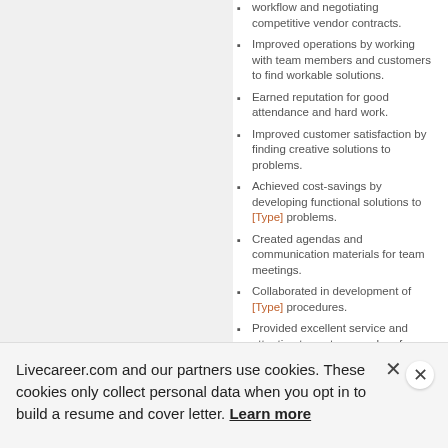workflow and negotiating competitive vendor contracts.
Improved operations by working with team members and customers to find workable solutions.
Earned reputation for good attendance and hard work.
Improved customer satisfaction by finding creative solutions to problems.
Achieved cost-savings by developing functional solutions to [Type] problems.
Created agendas and communication materials for team meetings.
Collaborated in development of [Type] procedures.
Provided excellent service and attention to customers when face-to-face or through phone
Livecareer.com and our partners use cookies. These cookies only collect personal data when you opt in to build a resume and cover letter. Learn more